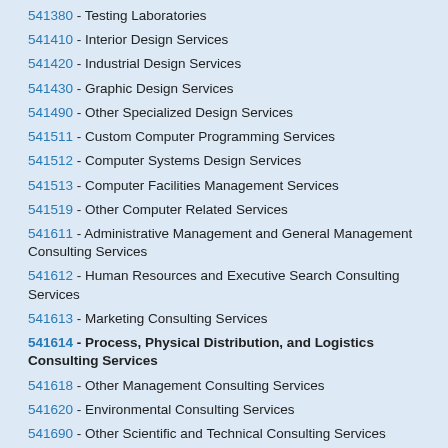541380 - Testing Laboratories
541410 - Interior Design Services
541420 - Industrial Design Services
541430 - Graphic Design Services
541490 - Other Specialized Design Services
541511 - Custom Computer Programming Services
541512 - Computer Systems Design Services
541513 - Computer Facilities Management Services
541519 - Other Computer Related Services
541611 - Administrative Management and General Management Consulting Services
541612 - Human Resources and Executive Search Consulting Services
541613 - Marketing Consulting Services
541614 - Process, Physical Distribution, and Logistics Consulting Services
541618 - Other Management Consulting Services
541620 - Environmental Consulting Services
541690 - Other Scientific and Technical Consulting Services
541710 - Research and Development in the Physical, Engineering and Life Sciences